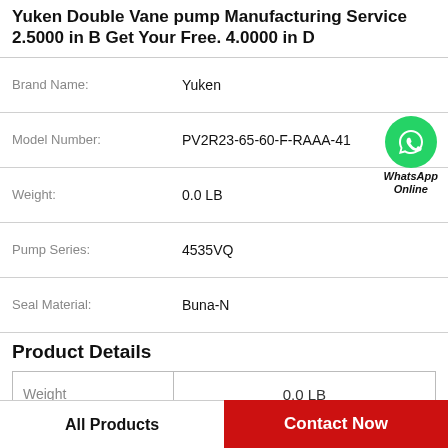Yuken Double Vane pump Manufacturing Service 2.5000 in B Get Your Free. 4.0000 in D
| Property | Value |
| --- | --- |
| Brand Name: | Yuken |
| Model Number: | PV2R23-65-60-F-RAAA-41 |
| Weight: | 0.0 LB |
| Pump Series: | 4535VQ |
| Seal Material: | Buna-N |
Product Details
| Property | Value |
| --- | --- |
| Weight | 0.0 LB |
| Pump Series | 4535VQ |
All Products
Contact Now